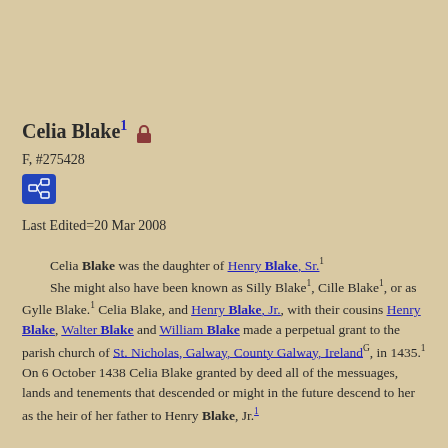Celia Blake¹ 🔒
F, #275428
Last Edited=20 Mar 2008
Celia Blake was the daughter of Henry Blake, Sr.¹ She might also have been known as Silly Blake¹, Cille Blake¹, or as Gylle Blake.¹ Celia Blake, and Henry Blake, Jr., with their cousins Henry Blake, Walter Blake and William Blake made a perpetual grant to the parish church of St. Nicholas, Galway, County Galway, IrelandG, in 1435.¹ On 6 October 1438 Celia Blake granted by deed all of the messuages, lands and tenements that descended or might in the future descend to her as the heir of her father to Henry Blake, Jr.¹